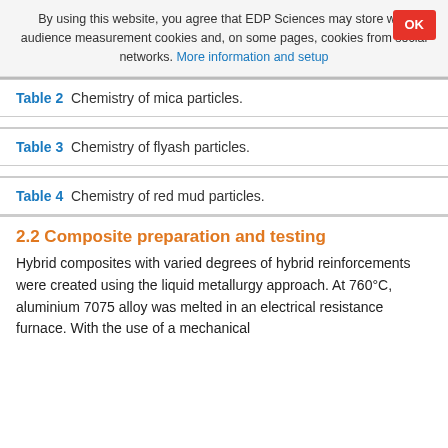By using this website, you agree that EDP Sciences may store web audience measurement cookies and, on some pages, cookies from social networks. More information and setup
Table 2  Chemistry of mica particles.
Table 3  Chemistry of flyash particles.
Table 4  Chemistry of red mud particles.
2.2 Composite preparation and testing
Hybrid composites with varied degrees of hybrid reinforcements were created using the liquid metallurgy approach. At 760°C, aluminium 7075 alloy was melted in an electrical resistance furnace. With the use of a mechanical